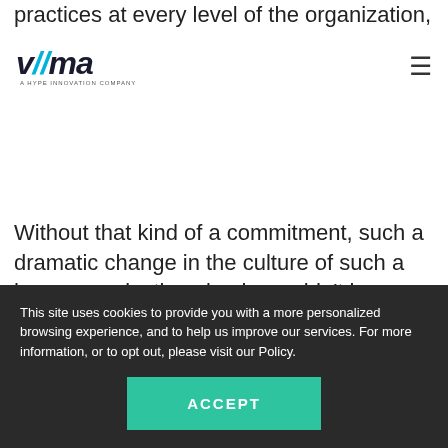practices at every level of the organization, and in everything it does, to really have a chance of succeeding.
wima — A HYPE INNOVATION COMPANY (logo/nav)
Without that kind of a commitment, such a dramatic change in the culture of such a huge organization simply wouldn't be possible.
How to create a more innovative culture
This site uses cookies to provide you with a more personalized browsing experience, and to help us improve our services. For more information, or to opt out, please visit our Policy.
ACCEPT